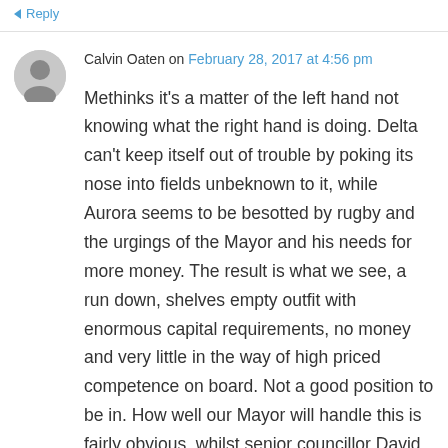↵ Reply
Calvin Oaten on February 28, 2017 at 4:56 pm
Methinks it's a matter of the left hand not knowing what the right hand is doing. Delta can't keep itself out of trouble by poking its nose into fields unbeknown to it, while Aurora seems to be besotted by rugby and the urgings of the Mayor and his needs for more money. The result is what we see, a run down, shelves empty outfit with enormous capital requirements, no money and very little in the way of high priced competence on board. Not a good position to be in. How well our Mayor will handle this is fairly obvious, whilst senior councillor David Benson-Pope explains what the inner city ought to look